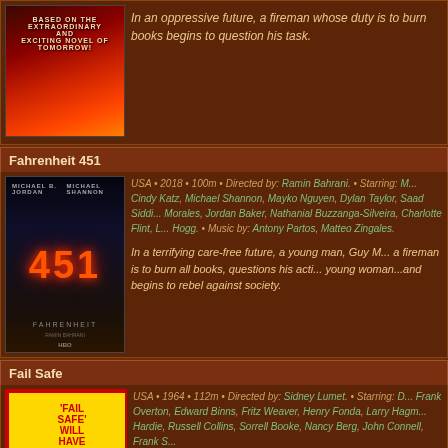[Figure (photo): Movie poster for Fahrenheit 451 (1966 film), orange/red tones with François Truffaut credit]
In an oppressive future, a fireman whose duty is to burn books begins to question his task.
Fahrenheit 451
[Figure (photo): Movie poster for Fahrenheit 451 (2018 HBO film) with Michael B. Jordan and Michael Shannon, dark tones with orange 451 text]
USA • 2018 • 100m • Directed by: Ramin Bahrani. • Starring: Michael B. Jordan, Cindy Katz, Michael Shannon, Mayko Nguyen, Dylan Taylor, Saad Siddiqui, Sofia Morales, Jordan Baker, Nathanial Buzzanga-Silveira, Charlotte Flint, Lilly Singh, Hogg. • Music by: Antony Partos, Matteo Zingales.
In a terrifying care-free future, a young man, Guy Montag, whose role as a fireman is to burn all books, questions his actions after meeting a young woman...and begins to rebel against society.
Fail Safe
[Figure (photo): Movie poster for Fail Safe (1964), yellow background with red text reading 'FAIL SAFE WILL HAVE YOU SITTING']
USA • 1964 • 112m • Directed by: Sidney Lumet. • Starring: Dan O'Herlihy, Frank Overton, Edward Binns, Fritz Weaver, Henry Fonda, Larry Hagman, William Hansen, Russell Hardie, Russell Collins, Sorrell Booke, Nancy Berg, John Connell, Frank Sutton
American planes are sent to deliver a nuclear attack on Moscow due to a mistake due to an electrical malfunction. Can it...